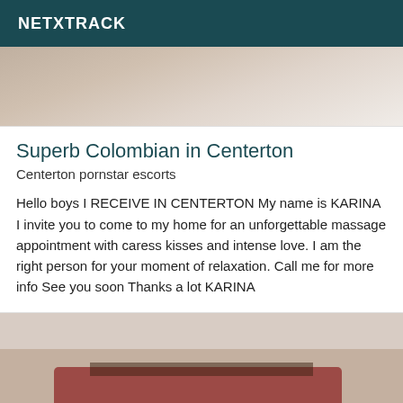NETXTRACK
[Figure (photo): Top portion of a photo showing a room interior, partially visible]
Superb Colombian in Centerton
Centerton pornstar escorts
Hello boys I RECEIVE IN CENTERTON My name is KARINA I invite you to come to my home for an unforgettable massage appointment with caress kisses and intense love. I am the right person for your moment of relaxation. Call me for more info See you soon Thanks a lot KARINA
[Figure (photo): Bottom photo showing a person in a dark red/burgundy outfit with a belt, partial view]